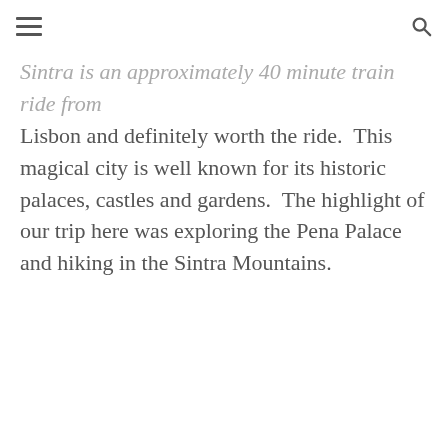[hamburger menu icon] [search icon]
Sintra is an approximately 40 minute train ride from Lisbon and definitely worth the ride.  This magical city is well known for its historic palaces, castles and gardens.  The highlight of our trip here was exploring the Pena Palace and hiking in the Sintra Mountains.